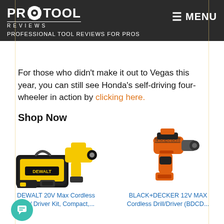PRO TOOL REVIEWS — PROFESSIONAL TOOL REVIEWS FOR PROS
For those who didn't make it out to Vegas this year, you can still see Honda's self-driving four-wheeler in action by clicking here.
Shop Now
[Figure (photo): DEWALT 20V Max Cordless Drill / Driver Kit with yellow bag and accessories]
DEWALT 20V Max Cordless Drill / Driver Kit, Compact,...
[Figure (photo): BLACK+DECKER 12V MAX Cordless Drill/Driver in orange and black]
BLACK+DECKER 12V MAX Cordless Drill/Driver (BDCD...